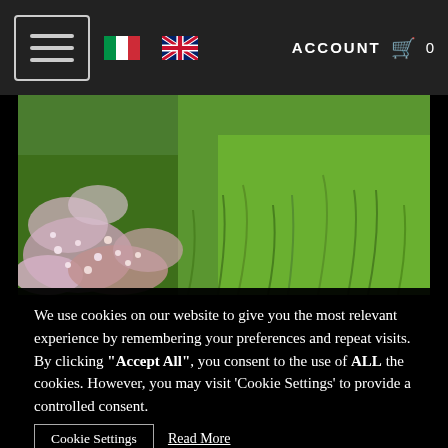[Figure (screenshot): Website navigation bar with hamburger menu icon, Italian and UK flags, ACCOUNT text and shopping cart icon with 0 count]
[Figure (photo): Garden photo showing small white/pink flowers (likely thyme or similar groundcover) mixed with green grass]
We use cookies on our website to give you the most relevant experience by remembering your preferences and repeat visits. By clicking "Accept All", you consent to the use of ALL the cookies. However, you may visit 'Cookie Settings' to provide a controlled consent.
Cookie Settings  Read More
Cookie Settings  Accept  Reject All